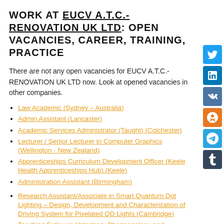WORK AT EUCV A.T.C.-RENOVATION UK LTD: OPEN VACANCIES, CAREER, TRAINING, PRACTICE
There are not any open vacancies for EUCV A.T.C.-RENOVATION UK LTD now. Look at opened vacancies in other companies.
Law Academic (Sydney – Australia)
Admin Assistant (Lancaster)
Academic Services Administrator (Taught) (Colchester)
Lecturer / Senior Lecturer in Computer Graphics (Wellington - New Zealand)
Apprenticeships Curriculum Development Officer (Keele Health Apprenticeships Hub) (Keele)
Administration Assistant (Birmingham)
Research Assistant/Associate in Smart Quantum Dot Lighting – Design, Development and Characterization of Driving System for Pixelated QD Lights (Cambridge)
Teaching Fellow in Veterinary Pharmacology and